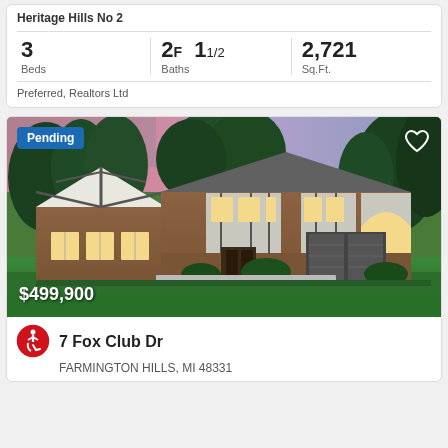Heritage Hills No 2
| Beds | Baths | Sq.Ft. |
| --- | --- | --- |
| 3 | 2F 1½ | 2,721 |
Preferred, Realtors Ltd
[Figure (photo): Exterior photo of a Tudor-style brick home at dusk with lighted windows, large green lawn, and trees. Shows Pending badge, $499,900 price overlay, and heart icon.]
7 Fox Club Dr
FARMINGTON HILLS, MI 48331